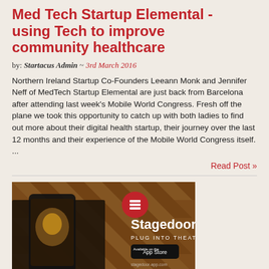Med Tech Startup Elemental - using Tech to improve community healthcare
by: Startacus Admin ~ 3rd March 2016
Northern Ireland Startup Co-Founders Leeann Monk and Jennifer Neff of MedTech Startup Elemental are just back from Barcelona after attending last week's Mobile World Congress. Fresh off the plane we took this opportunity to catch up with both ladies to find out more about their digital health startup, their journey over the last 12 months and their experience of the Mobile World Congress itself. ...
Read Post »
[Figure (photo): Stagedoor app advertisement showing a hand holding a smartphone displaying a theatre app, with the Stagedoor logo and tagline 'PLUG INTO THEATRE' and an App Store badge, set against a wooden chevron background.]